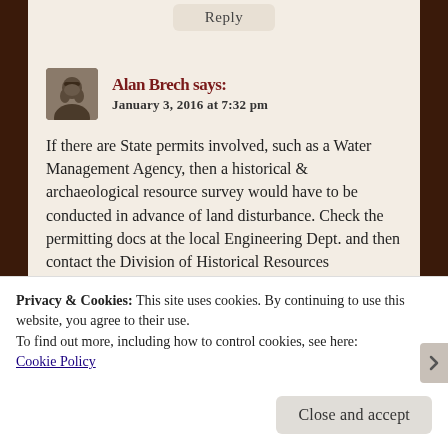Reply
Alan Brech says:
January 3, 2016 at 7:32 pm
If there are State permits involved, such as a Water Management Agency, then a historical & archaeological resource survey would have to be conducted in advance of land disturbance. Check the permitting docs at the local Engineering Dept. and then contact the Division of Historical Resources Compliance
Privacy & Cookies: This site uses cookies. By continuing to use this website, you agree to their use.
To find out more, including how to control cookies, see here:
Cookie Policy
Close and accept